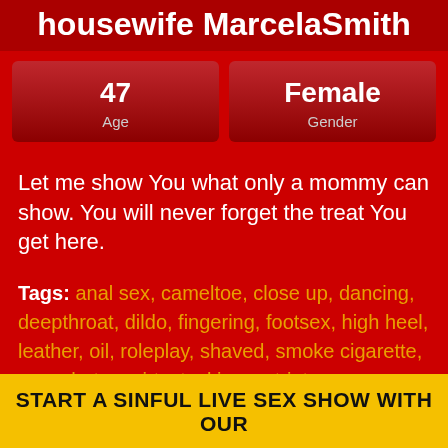housewife MarcelaSmith
| Age | Gender |
| --- | --- |
| 47 | Female |
Let me show You what only a mommy can show. You will never forget the treat You get here.
Tags:  anal sex, cameltoe, close up, dancing, deepthroat, dildo, fingering, footsex, high heel, leather, oil, roleplay, shaved, smoke cigarette, snapshot, squirt, stockings, striptease, vibrator, zoom
START A SINFUL LIVE SEX SHOW WITH OUR